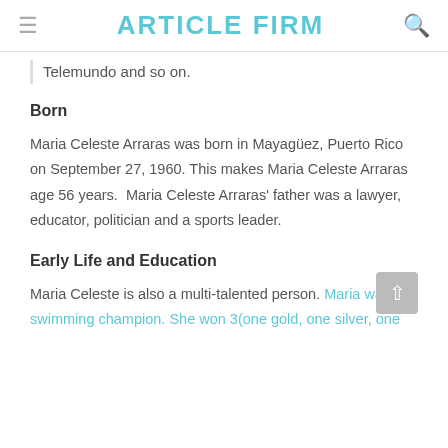ARTICLE FIRM
Telemundo and so on.
Born
Maria Celeste Arraras was born in Mayagüez, Puerto Rico on September 27, 1960. This makes Maria Celeste Arraras age 56 years.  Maria Celeste Arraras' father was a lawyer, educator, politician and a sports leader.
Early Life and Education
Maria Celeste is also a multi-talented person. Maria was a swimming champion. She won 3(one gold, one silver, one